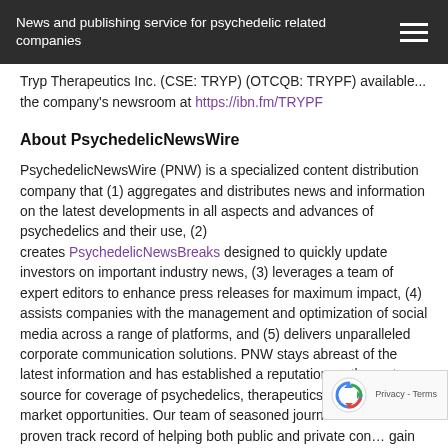News and publishing service for psychedelic related companies
Tryp Therapeutics Inc. (CSE: TRYP) (OTCQB: TRYPF) available... the company's newsroom at https://ibn.fm/TRYPF
About PsychedelicNewsWire
PsychedelicNewsWire (PNW) is a specialized content distribution company that (1) aggregates and distributes news and information on the latest developments in all aspects and advances of psychedelics and their use, (2) creates PsychedelicNewsBreaks designed to quickly update investors on important industry news, (3) leverages a team of expert editors to enhance press releases for maximum impact, (4) assists companies with the management and optimization of social media across a range of platforms, and (5) delivers unparalleled corporate communication solutions. PNW stays abreast of the latest information and has established a reputation as the go to source for coverage of psychedelics, therapeutics and em… market opportunities. Our team of seasoned journalists ha… proven track record of helping both public and private con… gain traction with a wide audience of investors, consumers, media